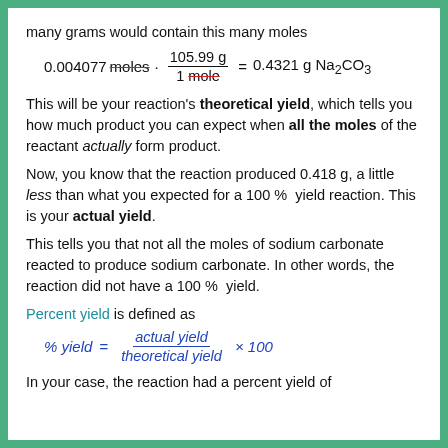many grams would contain this many moles
This will be your reaction's theoretical yield, which tells you how much product you can expect when all the moles of the reactant actually form product.
Now, you know that the reaction produced 0.418 g, a little less than what you expected for a 100 % yield reaction. This is your actual yield.
This tells you that not all the moles of sodium carbonate reacted to produce sodium carbonate. In other words, the reaction did not have a 100 % yield.
Percent yield is defined as
In your case, the reaction had a percent yield of